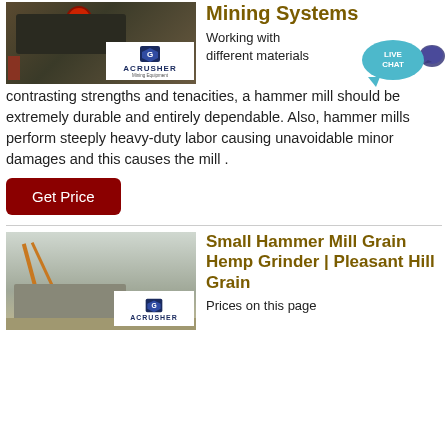[Figure (photo): Mining equipment / crusher machine with ACRUSHER Mining Equipment logo overlay]
Mining Systems
Working with different materials of contrasting strengths and tenacities, a hammer mill should be extremely durable and entirely dependable. Also, hammer mills perform steeply heavy-duty labor causing unavoidable minor damages and this causes the mill .
[Figure (other): Live Chat bubble icon]
Get Price
[Figure (photo): Mining/crushing plant equipment with ACRUSHER logo overlay]
Small Hammer Mill Grain Hemp Grinder | Pleasant Hill Grain
Prices on this page